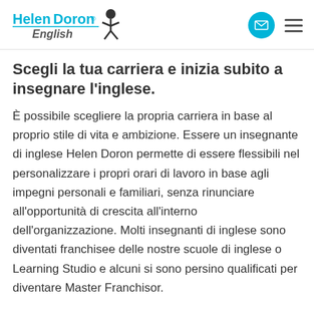Helen Doron English
Scegli la tua carriera e inizia subito a insegnare l'inglese.
È possibile scegliere la propria carriera in base al proprio stile di vita e ambizione. Essere un insegnante di inglese Helen Doron permette di essere flessibili nel personalizzare i propri orari di lavoro in base agli impegni personali e familiari, senza rinunciare all'opportunità di crescita all'interno dell'organizzazione. Molti insegnanti di inglese sono diventati franchisee delle nostre scuole di inglese o Learning Studio e alcuni si sono persino qualificati per diventare Master Franchisor.